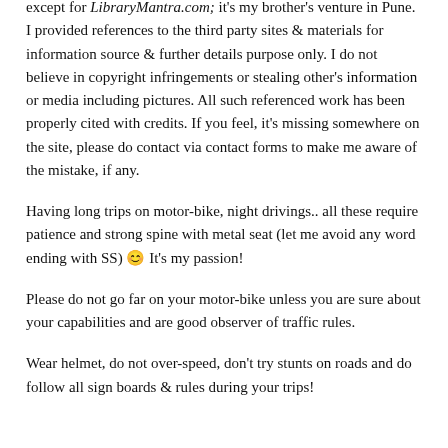except for LibraryMantra.com; it's my brother's venture in Pune. I provided references to the third party sites & materials for information source & further details purpose only. I do not believe in copyright infringements or stealing other's information or media including pictures. All such referenced work has been properly cited with credits. If you feel, it's missing somewhere on the site, please do contact via contact forms to make me aware of the mistake, if any.
Having long trips on motor-bike, night drivings.. all these require patience and strong spine with metal seat (let me avoid any word ending with SS) 😊 It's my passion!
Please do not go far on your motor-bike unless you are sure about your capabilities and are good observer of traffic rules.
Wear helmet, do not over-speed, don't try stunts on roads and do follow all sign boards & rules during your trips!